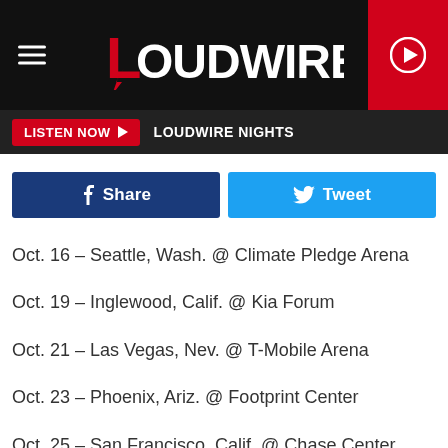LOUDWIRE
LISTEN NOW | LOUDWIRE NIGHTS
Share
Tweet
Oct. 16 – Seattle, Wash. @ Climate Pledge Arena
Oct. 19 – Inglewood, Calif. @ Kia Forum
Oct. 21 – Las Vegas, Nev. @ T-Mobile Arena
Oct. 23 – Phoenix, Ariz. @ Footprint Center
Oct. 25 – San Francisco, Calif. @ Chase Center
ADVERTISEMENT